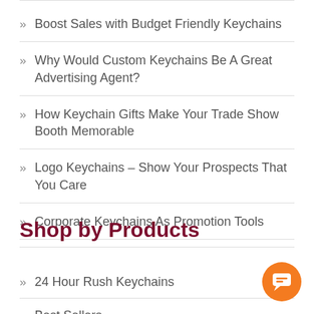Boost Sales with Budget Friendly Keychains
Why Would Custom Keychains Be A Great Advertising Agent?
How Keychain Gifts Make Your Trade Show Booth Memorable
Logo Keychains – Show Your Prospects That You Care
Corporate Keychains As Promotion Tools
Shop by Products
24 Hour Rush Keychains
Best Sellers
One Color Keychains